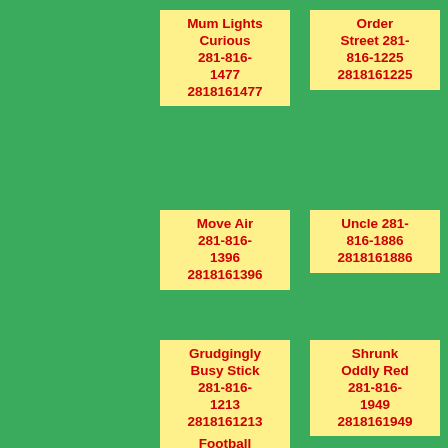Mum Lights Curious 281-816-1477 2818161477
Order Street 281-816-1225 2818161225
Nicolas Appeared 281-816-1298 2818161298
Move Air 281-816-1396 2818161396
Uncle 281-816-1886 2818161886
Hard Mmyself Rapped 281-816-1170 2818161170
Grudgingly Busy Stick 281-816-1213 2818161213
Shrunk Oddly Red 281-816-1949 2818161949
Orange Bridge 281-816-1402 2818161402
Football